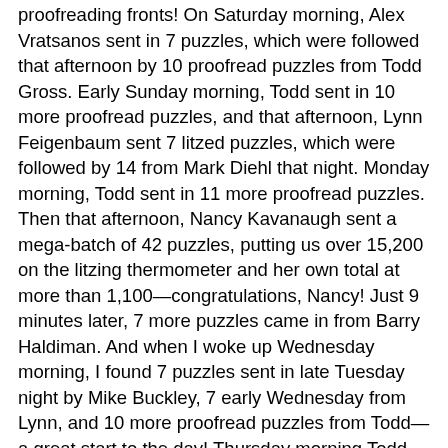proofreading fronts!  On Saturday morning, Alex Vratsanos sent in 7 puzzles, which were followed that afternoon by 10 proofread puzzles from Todd Gross.  Early Sunday morning, Todd sent in 10 more proofread puzzles, and that afternoon, Lynn Feigenbaum sent 7 litzed puzzles, which were followed by 14 from Mark Diehl that night.  Monday morning, Todd sent in 11 more proofread puzzles.  Then that afternoon, Nancy Kavanaugh sent a mega-batch of 42 puzzles, putting us over 15,200 on the litzing thermometer and her own total at more than 1,100—congratulations, Nancy!  Just 9 minutes later, 7 more puzzles came in from Barry Haldiman.  And when I woke up Wednesday morning, I found 7 puzzles sent in late Tuesday night by Mike Buckley, 7 early Wednesday from Lynn, and 10 more proofread puzzles from Todd—a great start to the day!  Thursday morning Todd sent in another 10 proofread puzzles, then 11 more that afternoon—way to go, Todd!  That night, Todd McClary sent in 7 litzed puzzles.  Early Friday morning, Barry sent 7 more puzzles.  Then, within the space of one hour, 7 more came in from Denny Baker, another 7 from Lynn, and 10 more proofread puzzles from Todd!  Thanks so much again, everyone—we're now at 15,282 on the litzing thermometer and well into the